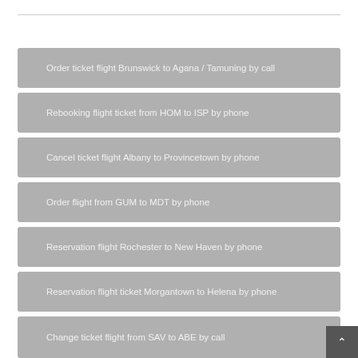Order ticket flight Brunswick to Agana / Tamuning by call
Rebooking flight ticket from HOM to ISP by phone
Cancel ticket flight Albany to Provincetown by phone
Order flight from GUM to MDT by phone
Reservation flight Rochester to New Haven by phone
Reservation flight ticket Morgantown to Helena by phone
Change ticket flight from SAV to ABE by call